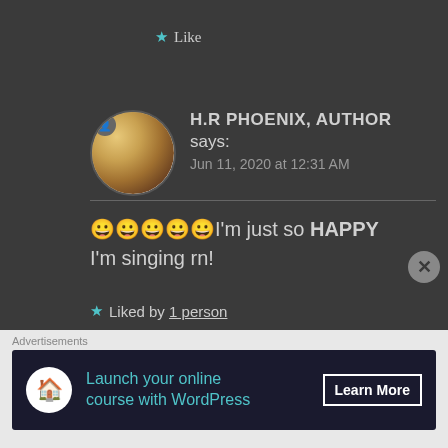★ Like
H.R PHOENIX, AUTHOR says:
Jun 11, 2020 at 12:31 AM
😀😀😀😀😀I'm just so HAPPY I'm singing rn!
★ Liked by 1 person
Advertisements
Launch your online course with WordPress
Learn More